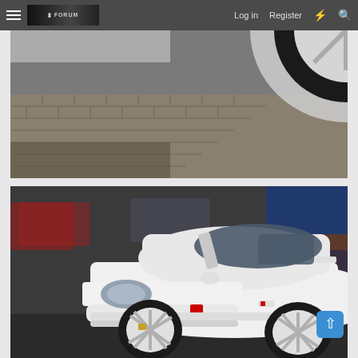Log in  Register
[Figure (photo): Close-up photo of a white car wheel/tire on brick paving stones, showing the underside and wheel arch area]
[Figure (photo): White Honda Civic Type R (EK9) hatchback parked in a car park, front 3/4 view, with other cars blurred in the background]